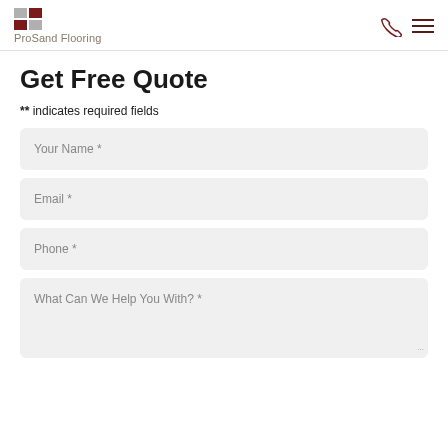ProSand Flooring
Get Free Quote
** indicates required fields
Your Name *
Email *
Phone *
What Can We Help You With? *